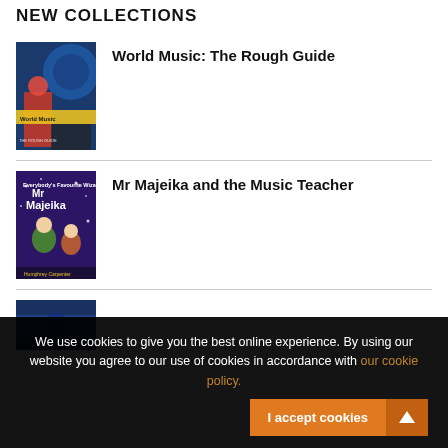NEW COLLECTIONS
[Figure (illustration): Book cover for World Music: The Rough Guide - colorful cover with blue background, guitar player in red, globe imagery and yellow text]
World Music: The Rough Guide
[Figure (illustration): Book cover for Mr Majeika and the Music Teacher - purple background with cartoon characters, elderly music teacher and child]
Mr Majeika and the Music Teacher
[Figure (illustration): Partial book cover - dark blue background, top portion only visible]
We use cookies to give you the best online experience. By using our website you agree to our use of cookies in accordance with our cookie policy.
I accept cookies